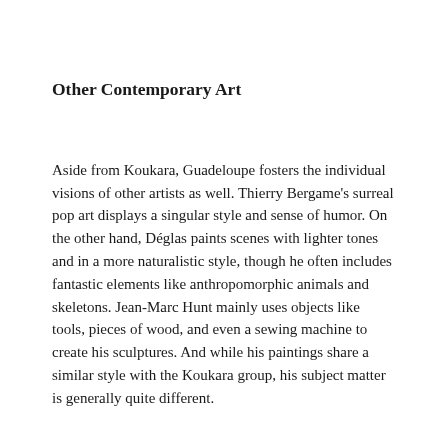Other Contemporary Art
Aside from Koukara, Guadeloupe fosters the individual visions of other artists as well. Thierry Bergame’s surreal pop art displays a singular style and sense of humor. On the other hand, Déglas paints scenes with lighter tones and in a more naturalistic style, though he often includes fantastic elements like anthropomorphic animals and skeletons. Jean-Marc Hunt mainly uses objects like tools, pieces of wood, and even a sewing machine to create his sculptures. And while his paintings share a similar style with the Koukara group, his subject matter is generally quite different.